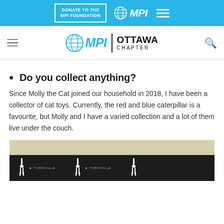DONATE TO THE MPI FOUNDATION | MPI
[Figure (logo): MPI Ottawa Chapter logo with globe icon, MPI wordmark, vertical divider, and OTTAWA CHAPTER text]
Do you collect anything?
Since Molly the Cat joined our household in 2018, I have been a collector of cat toys. Currently, the red and blue caterpillar is a favourite, but Molly and I have a varied collection and a lot of them live under the couch.
[Figure (photo): Dark display bar with Yorkville branding and giraffe silhouettes on a light background]